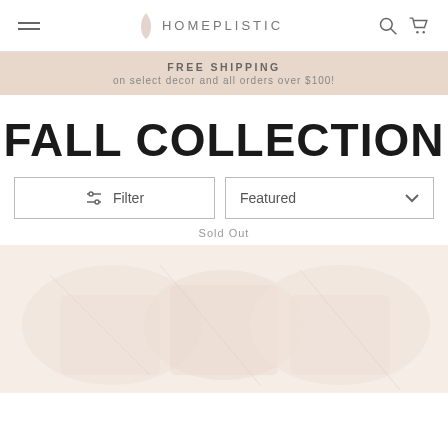HOMEPLISTIC — navigation header with hamburger menu, logo, search and cart icons
FREE SHIPPING on select decor and all orders over $100!
FALL COLLECTION
Filter | Featured (sort dropdown)
Sold Out
[Figure (photo): Product image area showing home decor items in light peachy-beige tones, partially visible]